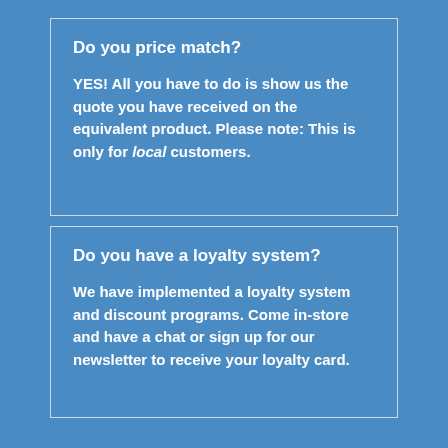Do you price match?
YES! All you have to do is show us the quote you have received on the equivalent product. Please note: This is only for local customers.
Do you have a loyalty system?
We have implemented a loyalty system and discount programs. Come in-store and have a chat or sign up for our newsletter to receive your loyalty card.